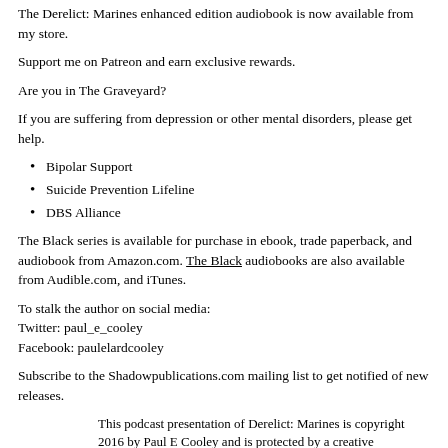The Derelict: Marines enhanced edition audiobook is now available from my store.
Support me on Patreon and earn exclusive rewards.
Are you in The Graveyard?
If you are suffering from depression or other mental disorders, please get help.
Bipolar Support
Suicide Prevention Lifeline
DBS Alliance
The Black series is available for purchase in ebook, trade paperback, and audiobook from Amazon.com. The Black audiobooks are also available from Audible.com, and iTunes.
To stalk the author on social media:
Twitter: paul_e_cooley
Facebook: paulelardcooley
Subscribe to the Shadowpublications.com mailing list to get notified of new releases.
This podcast presentation of Derelict: Marines is copyright 2016 by Paul E Cooley and is protected by a creative commons, attribution, non-commercial, no-derivatives license.